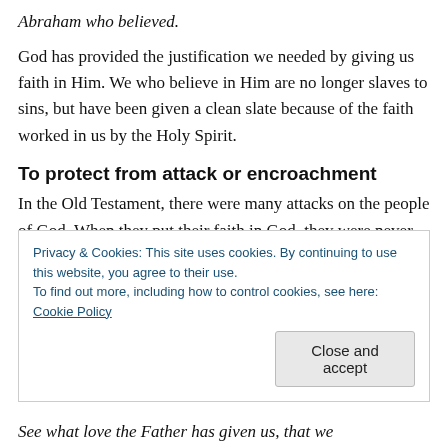Abraham who believed.
God has provided the justification we needed by giving us faith in Him. We who believe in Him are no longer slaves to sins, but have been given a clean slate because of the faith worked in us by the Holy Spirit.
To protect from attack or encroachment
In the Old Testament, there were many attacks on the people of God. When they put their faith in God, they were never disappointed. We too can trust in God to protect us from the attacks the devil wages on us (often through
Privacy & Cookies: This site uses cookies. By continuing to use this website, you agree to their use.
To find out more, including how to control cookies, see here: Cookie Policy
Close and accept
See what love the Father has given us, that we